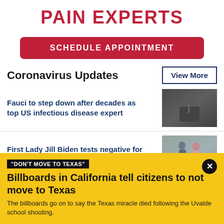PAIN EXPERTS
SCHEDULE APPOINTMENT
Coronavirus Updates
View More
Fauci to step down after decades as top US infectious disease expert
[Figure (photo): Photo of Fauci at a hearing]
First Lady Jill Biden tests negative for COVID-19, will end isolation
[Figure (photo): Photo of Jill Biden on tarmac]
"DON'T MOVE TO TEXAS"
Billboards in California tell citizens to not move to Texas
The billboards go on to say the Texas miracle died following the Uvalde school shooting.